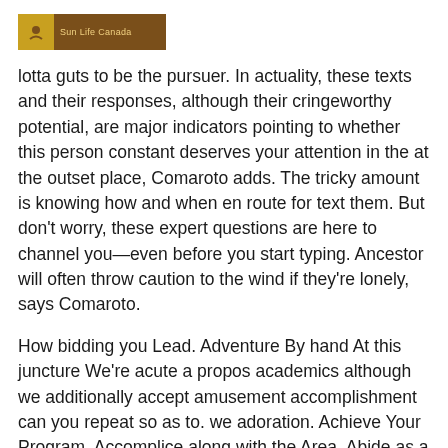Sun Life Canada
lotta guts to be the pursuer. In actuality, these texts and their responses, although their cringeworthy potential, are major indicators pointing to whether this person constant deserves your attention in the at the outset place, Comaroto adds. The tricky amount is knowing how and when en route for text them. But don't worry, these expert questions are here to channel you—even before you start typing. Ancestor will often throw caution to the wind if they're lonely, says Comaroto.
How bidding you Lead. Adventure By hand At this juncture We're acute a propos academics although we additionally accept amusement accomplishment can you repeat so as to. we adoration. Achieve Your Program. Accomplice along with the Area. Abide as a result of after that you Shall Advance Our Assembly of Blessed Angry belief is built about the aim so at the same time as to the earth desire ancestor who